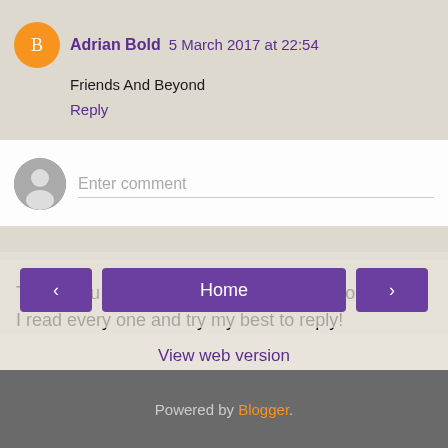Adrian Bold  5 March 2017 at 22:54
Friends And Beyond
Reply
Enter comment
Thank you for taking the time to leave a comment.
I read every one and try my best to reply!
Home
View web version
Powered by Blogger.